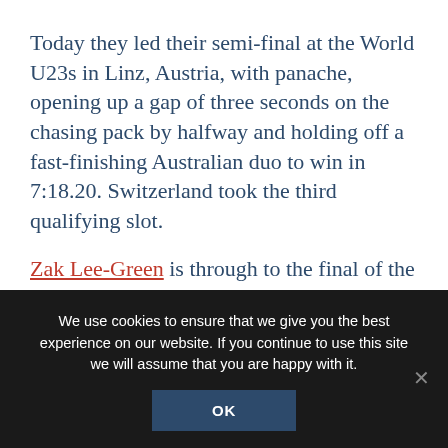Today they led their semi-final at the World U23s in Linz, Austria, with panache, opening up a gap of three seconds on the chasing pack by halfway and holding off a fast-finishing Australian duo to win in 7:18.20. Switzerland took the third qualifying slot.
Zak Lee-Green is through to the final of the lightweight men's single scull. He took third place in today's semi-final to qualify in a time of 7:14.26. After a winter of training disrupted by illness, reaching the final is a big measure of success.
We use cookies to ensure that we give you the best experience on our website. If you continue to use this site we will assume that you are happy with it.